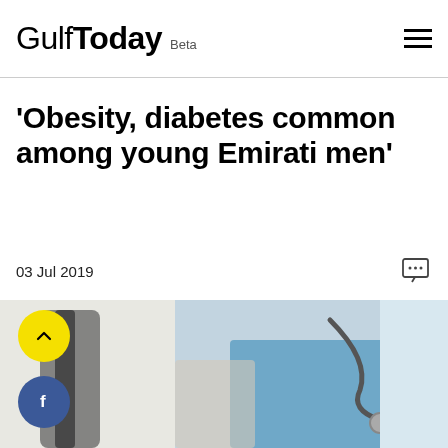Gulf Today Beta
'Obesity, diabetes common among young Emirati men'
03 Jul 2019
[Figure (photo): A doctor wearing a blue shirt with a stethoscope around their neck, out-of-focus medical background]